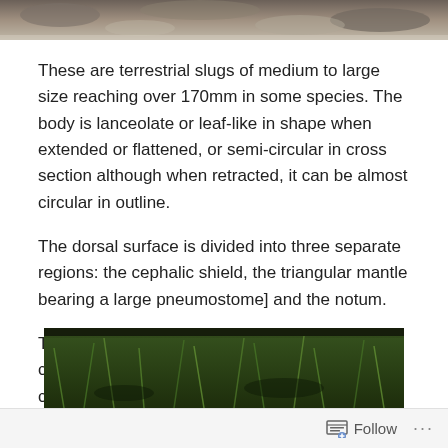[Figure (photo): Top portion of a photo showing rocky/gravelly ground surface, cropped at top of page]
These are terrestrial slugs of medium to large size reaching over 170mm in some species. The body is lanceolate or leaf-like in shape when extended or flattened, or semi-circular in cross section although when retracted, it can be almost circular in outline.
The dorsal surface is divided into three separate regions: the cephalic shield, the triangular mantle bearing a large pneumostome] and the notum.
The shell is internal and greatly reduced consisting of scattered fragments or granules of calcium.
[Figure (photo): Bottom portion of a photo showing green grass or plant material on dark ground, partially visible at bottom of page]
Follow ...